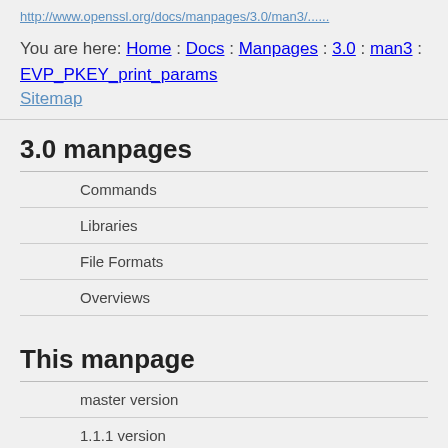http://www.openssl.org/docs/manpages/...
You are here: Home : Docs : Manpages : 3.0 : man3 : EVP_PKEY_print_params
Sitemap
3.0 manpages
Commands
Libraries
File Formats
Overviews
This manpage
master version
1.1.1 version